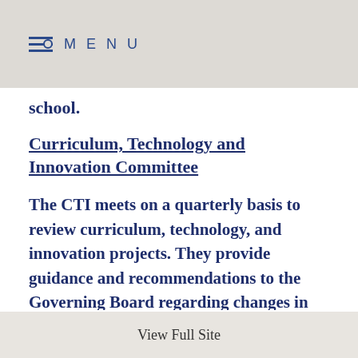MENU
school.
Curriculum, Technology and Innovation Committee
The CTI meets on a quarterly basis to review curriculum, technology, and innovation projects. They provide guidance and recommendations to the Governing Board regarding changes in program and purchases of curriculum and technology. Members of this committee are made up of SHUSD employees, parents, and community members.
View Full Site